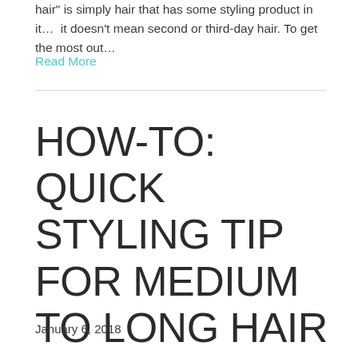hair" is simply hair that has some styling product in it…  it doesn't mean second or third-day hair. To get the most out…
Read More
HOW-TO: QUICK STYLING TIP FOR MEDIUM TO LONG HAIR
January 6, 2018